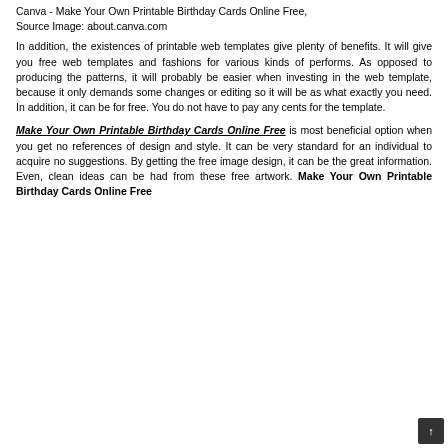Canva - Make Your Own Printable Birthday Cards Online Free, Source Image: about.canva.com
In addition, the existences of printable web templates give plenty of benefits. It will give you free web templates and fashions for various kinds of performs. As opposed to producing the patterns, it will probably be easier when investing in the web template, because it only demands some changes or editing so it will be as what exactly you need. In addition, it can be for free. You do not have to pay any cents for the template.
Make Your Own Printable Birthday Cards Online Free is most beneficial option when you get no references of design and style. It can be very standard for an individual to acquire no suggestions. By getting the free image design, it can be the great information. Even, clean ideas can be had from these free artwork. Make Your Own Printable Birthday Cards Online Free